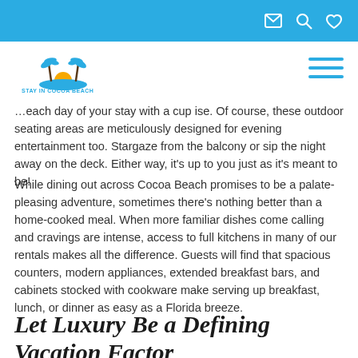Stay In Cocoa Beach — navigation header with email, search, heart icons and hamburger menu
…each day of your stay with a cup ise. Of course, these outdoor seating areas are meticulously designed for evening entertainment too. Stargaze from the balcony or sip the night away on the deck. Either way, it's up to you just as it's meant to be!
While dining out across Cocoa Beach promises to be a palate-pleasing adventure, sometimes there's nothing better than a home-cooked meal. When more familiar dishes come calling and cravings are intense, access to full kitchens in many of our rentals makes all the difference. Guests will find that spacious counters, modern appliances, extended breakfast bars, and cabinets stocked with cookware make serving up breakfast, lunch, or dinner as easy as a Florida breeze.
Let Luxury Be a Defining Vacation Factor